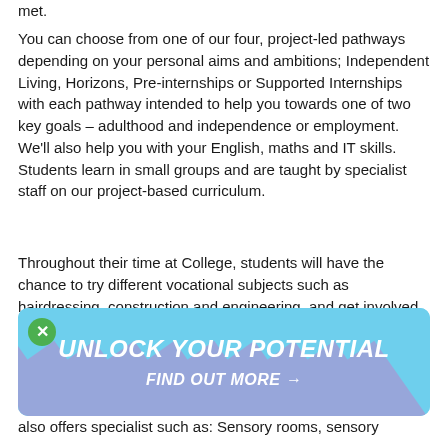met.
You can choose from one of our four, project-led pathways depending on your personal aims and ambitions; Independent Living, Horizons, Pre-internships or Supported Internships with each pathway intended to help you towards one of two key goals – adulthood and independence or employment. We'll also help you with your English, maths and IT skills. Students learn in small groups and are taught by specialist staff on our project-based curriculum.
Throughout their time at College, students will have the chance to try different vocational subjects such as hairdressing, construction and engineering, and get involved in community projects. This provides the learners with exposure to all the fabulous facilities available across our College Group's sites (Rotherham College, North Notts
[Figure (infographic): A light blue banner overlay with diagonal pink/purple stripe pattern. Contains a green circular close button (X) on the top left. Center text reads 'UNLOCK YOUR POTENTIAL' in large white bold italic uppercase letters, with 'FIND OUT MORE →' below in smaller white bold italic text.]
also offers specialist such as: Sensory rooms, sensory